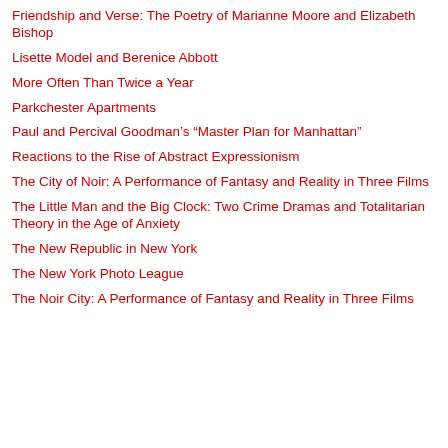Friendship and Verse: The Poetry of Marianne Moore and Elizabeth Bishop
Lisette Model and Berenice Abbott
More Often Than Twice a Year
Parkchester Apartments
Paul and Percival Goodman's “Master Plan for Manhattan”
Reactions to the Rise of Abstract Expressionism
The City of Noir: A Performance of Fantasy and Reality in Three Films
The Little Man and the Big Clock: Two Crime Dramas and Totalitarian Theory in the Age of Anxiety
The New Republic in New York
The New York Photo League
The Noir City: A Performance of Fantasy and Reality in Three Films